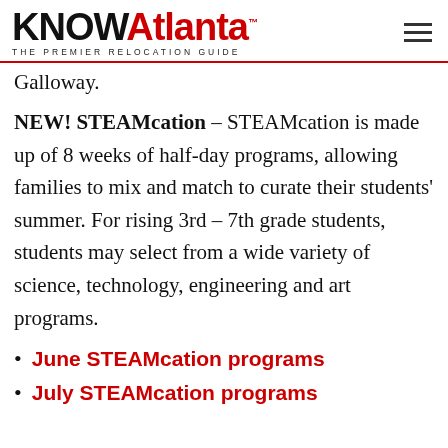KNOWAtlanta™ THE PREMIER RELOCATION GUIDE
Galloway.
NEW! STEAMcation – STEAMcation is made up of 8 weeks of half-day programs, allowing families to mix and match to curate their students' summer. For rising 3rd – 7th grade students, students may select from a wide variety of science, technology, engineering and art programs.
June STEAMcation programs
July STEAMcation programs